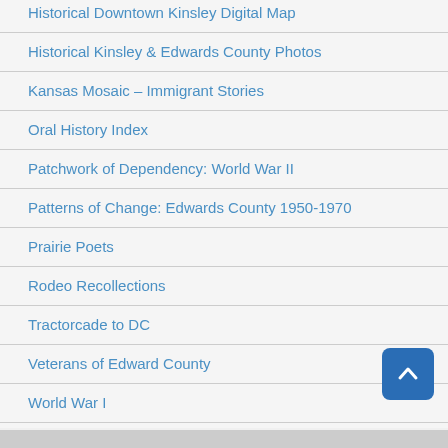Historical Downtown Kinsley Digital Map
Historical Kinsley & Edwards County Photos
Kansas Mosaic – Immigrant Stories
Oral History Index
Patchwork of Dependency: World War II
Patterns of Change: Edwards County 1950-1970
Prairie Poets
Rodeo Recollections
Tractorcade to DC
Veterans of Edward County
World War I